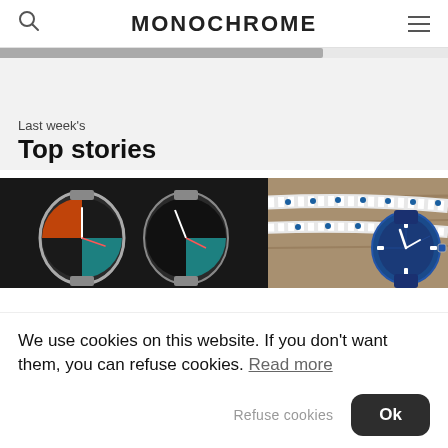MONOCHROME
Last week's
Top stories
[Figure (photo): Two Seiko sport watches with colorful dials (orange/teal split and dark/teal) on metal bracelets against dark background]
[Figure (photo): Blue TAG Heuer diving watch with blue rubber strap next to white and blue ropes on wooden surface]
We use cookies on this website. If you don't want them, you can refuse cookies. Read more
Refuse cookies
Ok